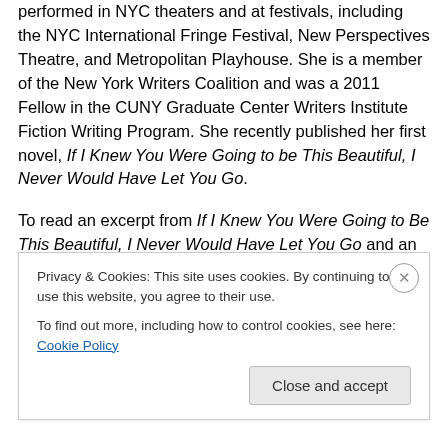performed in NYC theaters and at festivals, including the NYC International Fringe Festival, New Perspectives Theatre, and Metropolitan Playhouse. She is a member of the New York Writers Coalition and was a 2011 Fellow in the CUNY Graduate Center Writers Institute Fiction Writing Program. She recently published her first novel, If I Knew You Were Going to be This Beautiful, I Never Would Have Let You Go.
To read an excerpt from If I Knew You Were Going to Be This Beautiful, I Never Would Have Let You Go and an exercise on creating a narrative clock, click here
Privacy & Cookies: This site uses cookies. By continuing to use this website, you agree to their use. To find out more, including how to control cookies, see here: Cookie Policy